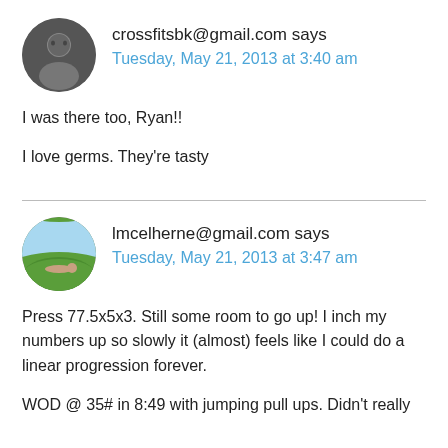[Figure (photo): Circular avatar photo of a person (dark, indoor setting)]
crossfitsbk@gmail.com says
Tuesday, May 21, 2013 at 3:40 am
I was there too, Ryan!!
I love germs. They're tasty
[Figure (photo): Circular avatar photo showing a person lying in a green field]
lmcelherne@gmail.com says
Tuesday, May 21, 2013 at 3:47 am
Press 77.5x5x3. Still some room to go up! I inch my numbers up so slowly it (almost) feels like I could do a linear progression forever.
WOD @ 35# in 8:49 with jumping pull ups. Didn't really